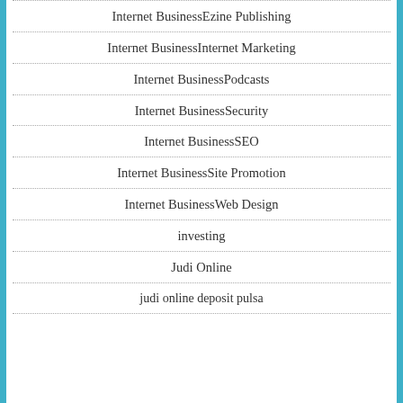Internet BusinessEzine Publishing
Internet BusinessInternet Marketing
Internet BusinessPodcasts
Internet BusinessSecurity
Internet BusinessSEO
Internet BusinessSite Promotion
Internet BusinessWeb Design
investing
Judi Online
judi online deposit pulsa